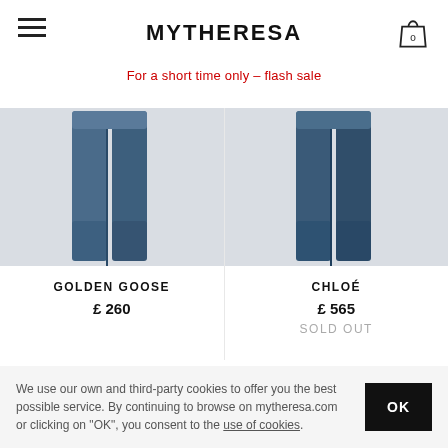MYTHERESA
For a short time only – flash sale
[Figure (photo): Product image of Golden Goose wide-leg jeans in dark blue denim]
GOLDEN GOOSE
£ 260
[Figure (photo): Product image of Chloé wide-leg jeans in dark blue denim]
CHLOÉ
£ 565
SOLD OUT
DISCOVER MORE IN JEANS
SKINNY JEANS
CROPPED JEANS
STRAIGHT JEANS
We use our own and third-party cookies to offer you the best possible service. By continuing to browse on mytheresa.com or clicking on "OK", you consent to the use of cookies.